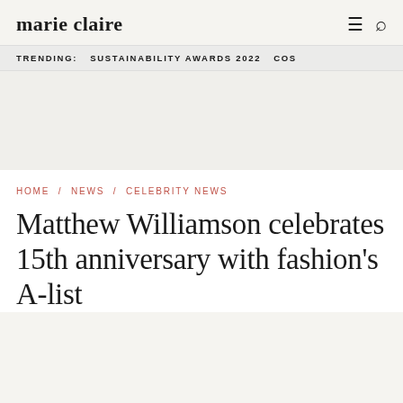marie claire
TRENDING:   SUSTAINABILITY AWARDS 2022   COS
HOME / NEWS / CELEBRITY NEWS
Matthew Williamson celebrates 15th anniversary with fashion's A-list